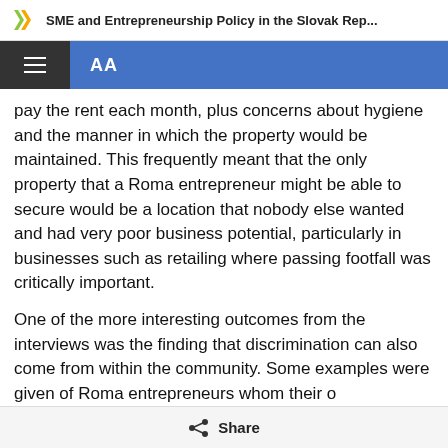SME and Entrepreneurship Policy in the Slovak Rep...
pay the rent each month, plus concerns about hygiene and the manner in which the property would be maintained. This frequently meant that the only property that a Roma entrepreneur might be able to secure would be a location that nobody else wanted and had very poor business potential, particularly in businesses such as retailing where passing footfall was critically important.
One of the more interesting outcomes from the interviews was the finding that discrimination can also come from within the community. Some examples were given of Roma entrepreneurs whom their own community perceived to be successful and so
Share